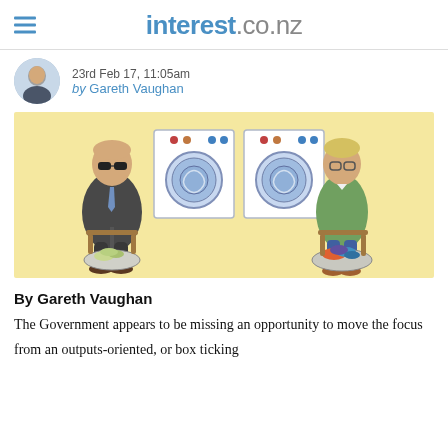interest.co.nz
23rd Feb 17, 11:05am
by Gareth Vaughan
[Figure (illustration): Cartoon illustration of two men sitting in a laundromat. On the left, a man in a dark suit and sunglasses sits with a basket of money. On the right, a man in a green sweater sits with a basket of colorful laundry. Two washing machines are visible in the background against a yellow wall.]
By Gareth Vaughan
The Government appears to be missing an opportunity to move the focus from an outputs-oriented, or box ticking